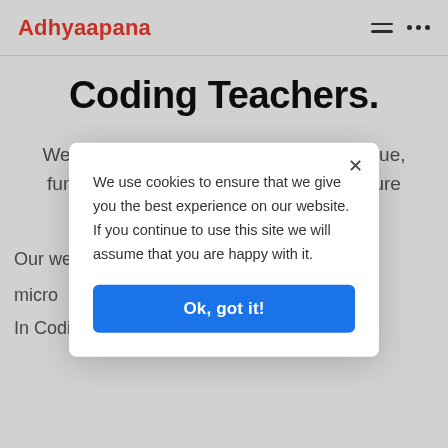Adhyaapana
Coding Teachers.
We at Adhyaapana follow a simple, unique, fun, and enjoyable way to teach our future coders.
Our webs
micro
In Coding Intermediate we are going to
We use cookies to ensure that we give you the best experience on our website. If you continue to use this site we will assume that you are happy with it.
Ok, got it!